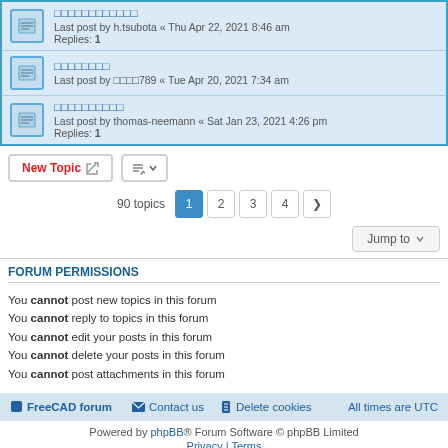（topic with Japanese/CJK title） - Last post by h.tsubota « Thu Apr 22, 2021 8:46 am - Replies: 1
（topic with CJK title） - Last post by （CJK user）789 « Tue Apr 20, 2021 7:34 am
（topic with CJK title） - Last post by thomas-neemann « Sat Jan 23, 2021 4:26 pm - Replies: 1
New Topic | Sort | 90 topics | 1 2 3 4 >
Jump to
FORUM PERMISSIONS
You cannot post new topics in this forum
You cannot reply to topics in this forum
You cannot edit your posts in this forum
You cannot delete your posts in this forum
You cannot post attachments in this forum
FreeCAD forum   Contact us   Delete cookies   All times are UTC
Powered by phpBB® Forum Software © phpBB Limited
Privacy | Terms